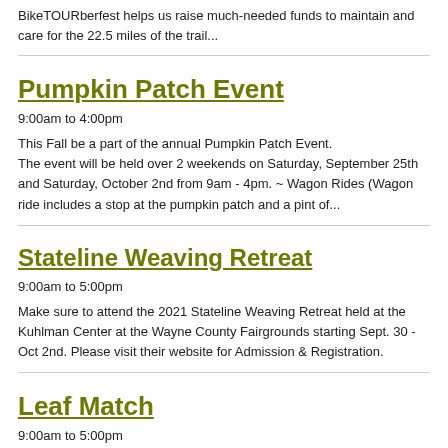BikeTOURberfest helps us raise much-needed funds to maintain and care for the 22.5 miles of the trail...
Pumpkin Patch Event
9:00am to 4:00pm
This Fall be a part of the annual Pumpkin Patch Event. The event will be held over 2 weekends on Saturday, September 25th and Saturday, October 2nd from 9am - 4pm. ~ Wagon Rides (Wagon ride includes a stop at the pumpkin patch and a pint of...
Stateline Weaving Retreat
9:00am to 5:00pm
Make sure to attend the 2021 Stateline Weaving Retreat held at the Kuhlman Center at the Wayne County Fairgrounds starting Sept. 30 - Oct 2nd. Please visit their website for Admission & Registration.
Leaf Match
9:00am to 5:00pm